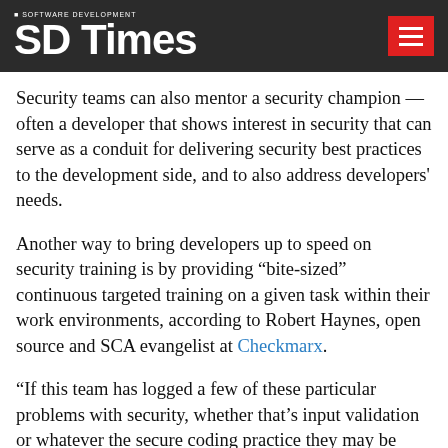SD Times · SOFTWARE DEVELOPMENT
Security teams can also mentor a security champion — often a developer that shows interest in security that can serve as a conduit for delivering security best practices to the development side, and to also address developers' needs.
Another way to bring developers up to speed on security training is by providing “bite-sized” continuous targeted training on a given task within their work environments, according to Robert Haynes, open source and SCA evangelist at Checkmarx.
“If this team has logged a few of these particular problems with security, whether that’s input validation or whatever the secure coding practice they may be struggling with may be, I want to be able to deliver targeted, reasonably short training sessions for them so